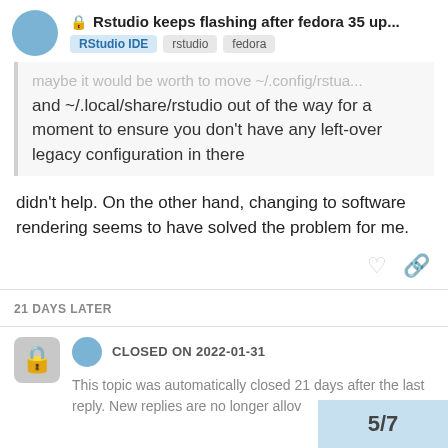🔒 Rstudio keeps flashing after fedora 35 up... | RStudio IDE  rstudio  fedora
maybe it would be worth to move ~/.config/rstudio and ~/.local/share/rstudio out of the way for a moment to ensure you don't have any left-over legacy configuration in there
didn't help. On the other hand, changing to software rendering seems to have solved the problem for me.
21 DAYS LATER
CLOSED ON 2022-01-31
This topic was automatically closed 21 days after the last reply. New replies are no longer allow
5/7